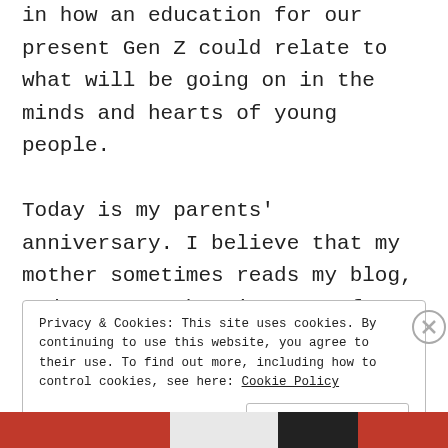in how an education for our present Gen Z could relate to what will be going on in the minds and hearts of young people.
Today is my parents' anniversary. I believe that my mother sometimes reads my blog, and I guess that is sort of stereotypically
Privacy & Cookies: This site uses cookies. By continuing to use this website, you agree to their use. To find out more, including how to control cookies, see here: Cookie Policy
Close and accept